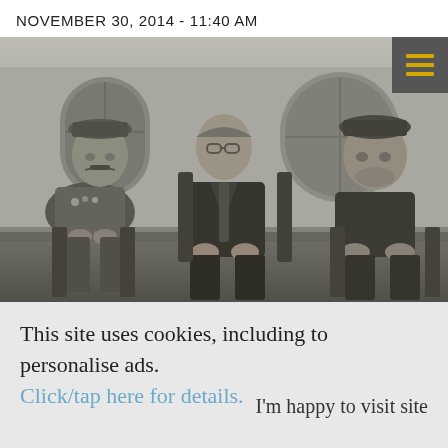NOVEMBER 30, 2014 - 11:40 AM
[Figure (photo): Black and white photograph of three men seated outdoors. From left to right: a man in military uniform with medals, a man in a dark suit seated in the center, and a man in military uniform on the right. Buildings with arched windows visible in the background.]
This site uses cookies, including to personalise ads. Click/tap here for details.
I'm happy to visit site